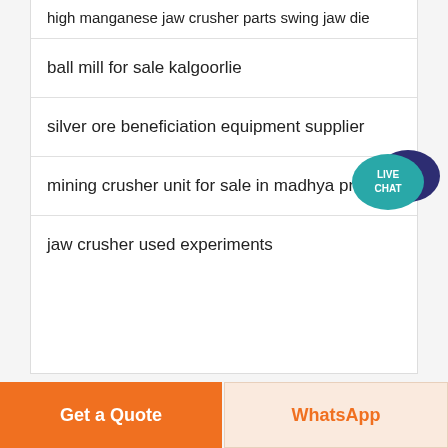high manganese jaw crusher parts swing jaw die
ball mill for sale kalgoorlie
silver ore beneficiation equipment supplier
mining crusher unit for sale in madhya pradesh
jaw crusher used experiments
[Figure (illustration): Live Chat button — teal speech bubble with dark blue overlapping chat bubble, white text 'LIVE CHAT']
Get a Quote
WhatsApp